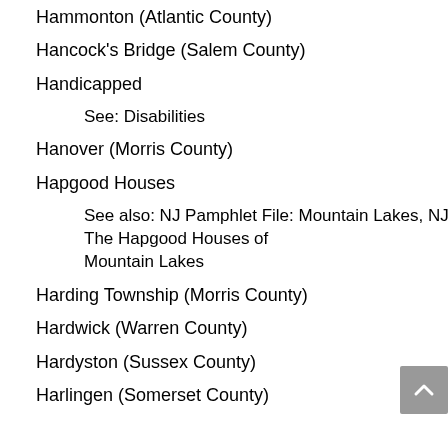Hammonton (Atlantic County)
Hancock's Bridge (Salem County)
Handicapped
See: Disabilities
Hanover (Morris County)
Hapgood Houses
See also: NJ Pamphlet File: Mountain Lakes, NJ, The Hapgood Houses of Mountain Lakes
Harding Township (Morris County)
Hardwick (Warren County)
Hardyston (Sussex County)
Harlingen (Somerset County)